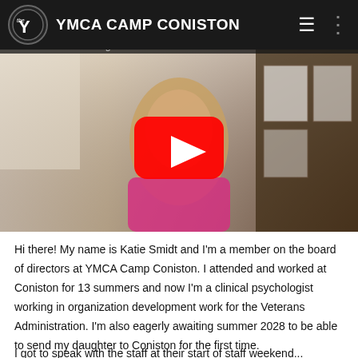YMCA CAMP CONISTON
[Figure (screenshot): Video thumbnail showing a woman with blonde hair in a pink top, smiling, seated in an office with framed certificates on the wall behind her. A red YouTube play button overlay is centered on the thumbnail.]
Hi there! My name is Katie Smidt and I'm a member on the board of directors at YMCA Camp Coniston. I attended and worked at Coniston for 13 summers and now I'm a clinical psychologist working in organization development work for the Veterans Administration. I'm also eagerly awaiting summer 2028 to be able to send my daughter to Coniston for the first time.
I got to speak with the staff at their start of staff weekend...